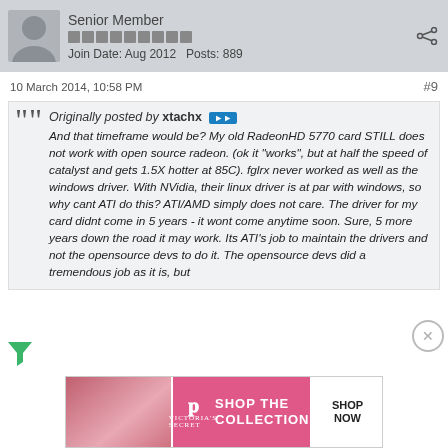Senior Member | Join Date: Aug 2012 | Posts: 889
10 March 2014, 10:58 PM  #9
Originally posted by xtachx
And that timeframe would be? My old RadeonHD 5770 card STILL does not work with open source radeon. (ok it "works", but at half the speed of catalyst and gets 1.5X hotter at 85C). fglrx never worked as well as the windows driver. With NVidia, their linux driver is at par with windows, so why cant ATI do this? ATI/AMD simply does not care. The driver for my card didnt come in 5 years - it wont come anytime soon. Sure, 5 more years down the road it may work. Its ATI's job to maintain the drivers and not the opensource devs to do it. The opensource devs did a tremendous job as it is, but
[Figure (other): Victoria's Secret advertisement banner: SHOP THE COLLECTION with SHOP NOW button]